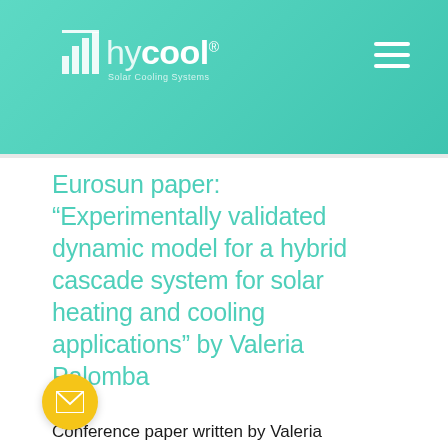hycool Solar Cooling Systems
Eurosun paper: “Experimentally validated dynamic model for a hybrid cascade system for solar heating and cooling applications” by Valeria Palomba
Conference paper written by Valeria Palomba, Andrea Frazzica, Steffen Kühnert, André Große for Eurosun 2018.